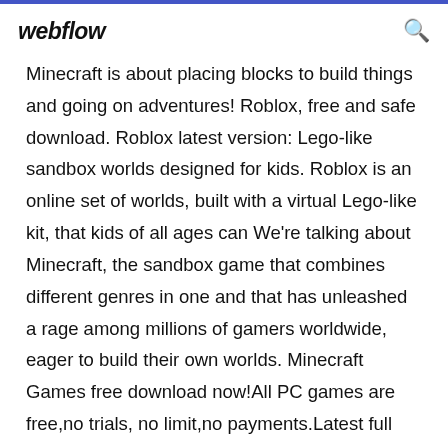webflow
Minecraft is about placing blocks to build things and going on adventures! Roblox, free and safe download. Roblox latest version: Lego-like sandbox worlds designed for kids. Roblox is an online set of worlds, built with a virtual Lego-like kit, that kids of all ages can We're talking about Minecraft, the sandbox game that combines different genres in one and that has unleashed a rage among millions of gamers worldwide, eager to build their own worlds. Minecraft Games free download now!All PC games are free,no trials, no limit,no payments.Latest full version PC games for you download for windows 7,8,10,XP.Minecraft no download just play online